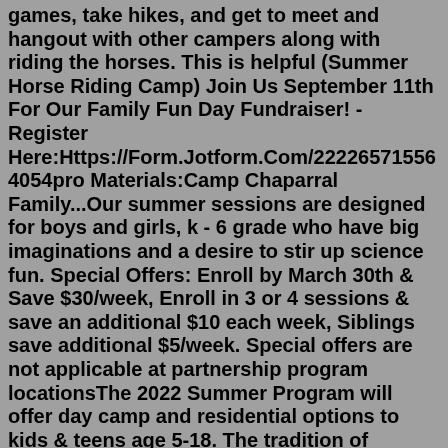games, take hikes, and get to meet and hangout with other campers along with riding the horses. This is helpful (Summer Horse Riding Camp) Join Us September 11th For Our Family Fun Day Fundraiser! - Register Here:Https://Form.Jotform.Com/222265715564054pro Materials:Camp Chaparral Family...Our summer sessions are designed for boys and girls, k - 6 grade who have big imaginations and a desire to stir up science fun. Special Offers: Enroll by March 30th & Save $30/week, Enroll in 3 or 4 sessions & save an additional $10 each week, Siblings save additional $5/week. Special offers are not applicable at partnership program locationsThe 2022 Summer Program will offer day camp and residential options to kids & teens age 5-18. The tradition of gathering an impassioned community of artists during the summer months has served generations of musicians, painters, writers and performers in a variety of disciplines including dance, theatre, music, film, and visual arts. Little Riders is a great introduction to horseback